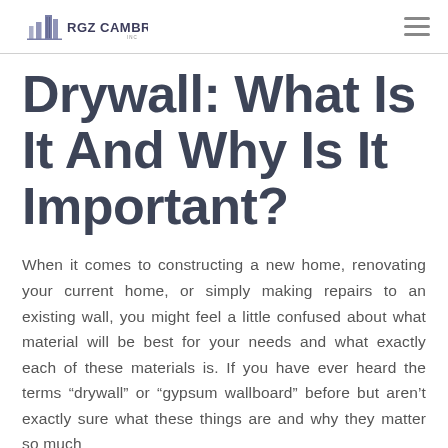RGZ CAMBRIDGE
Drywall: What Is It And Why Is It Important?
When it comes to constructing a new home, renovating your current home, or simply making repairs to an existing wall, you might feel a little confused about what material will be best for your needs and what exactly each of these materials is. If you have ever heard the terms “drywall” or “gypsum wallboard” before but aren’t exactly sure what these things are and why they matter so much